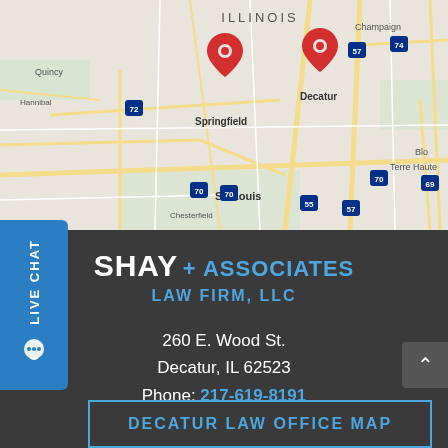[Figure (map): Google Maps screenshot showing central Illinois and surrounding region, with two red location pins near Springfield and Decatur, IL. Map shows cities including Quincy, Hannibal, St. Louis, Chesterfield, Terre Haute, Champaign, Bloomington. Highways 55, 70, 57, 72, 74, 69 visible.]
LIVE CHAT
SHAY + ASSOCIATES LAW FIRM, LLC
260 E. Wood St.
Decatur, IL 62523
Phone: 217-619-8191
DECATUR LAW OFFICE MAP